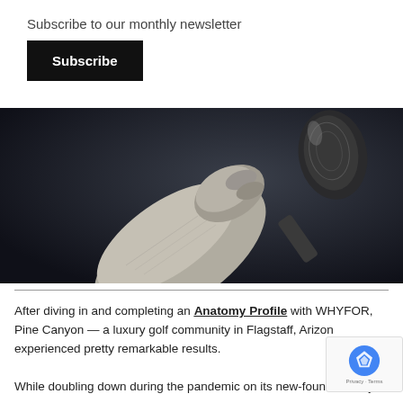Subscribe to our monthly newsletter
Subscribe
[Figure (photo): Black and white photo of a hand holding a microphone up against a dark background]
After diving in and completing an Anatomy Profile with WHYFOR, Pine Canyon — a luxury golf community in Flagstaff, Arizona — experienced pretty remarkable results.
While doubling down during the pandemic on its new-found identity